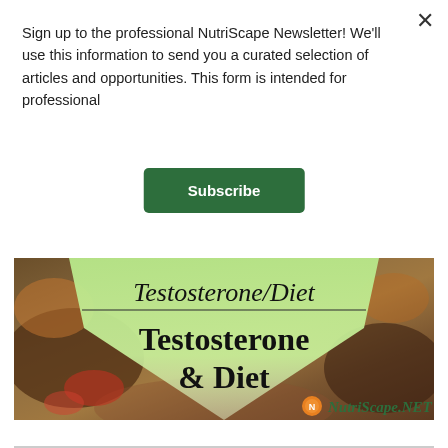Sign up to the professional NutriScape Newsletter! We'll use this information to send you a curated selection of articles and opportunities. This form is intended for professional
[Figure (illustration): Subscribe button (dark green, white text)]
[Figure (infographic): NutriScape article thumbnail showing a diamond/chevron shape on a food photo background with Greek-style text at top, 'Testosterone & Diet' in bold serif font, and NutriScape.NET logo at bottom right]